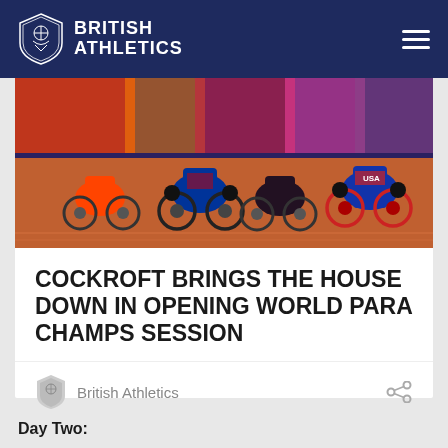BRITISH ATHLETICS
[Figure (photo): Wheelchair racers competing on a track, athletes in team uniforms including a USA jersey, viewed from behind/side angle during a race]
COCKROFT BRINGS THE HOUSE DOWN IN OPENING WORLD PARA CHAMPS SESSION
British Athletics
Day Two: